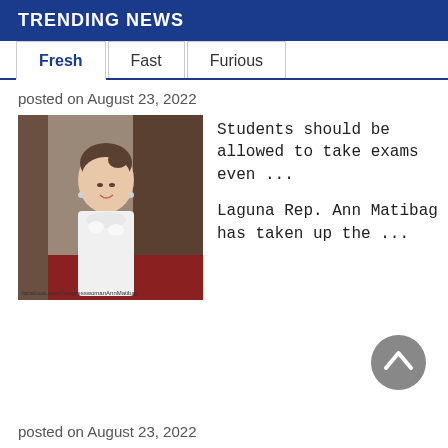TRENDING NEWS
Fresh | Fast | Furious
posted on August 23, 2022
[Figure (photo): Woman in white dress posing at an event, with a small watermark at the bottom.]
Students should be allowed to take exams even ...
Laguna Rep. Ann Matibag has taken up the ...
[Figure (other): Gray circular scroll-to-top button with upward chevron icon]
posted on August 23, 2022